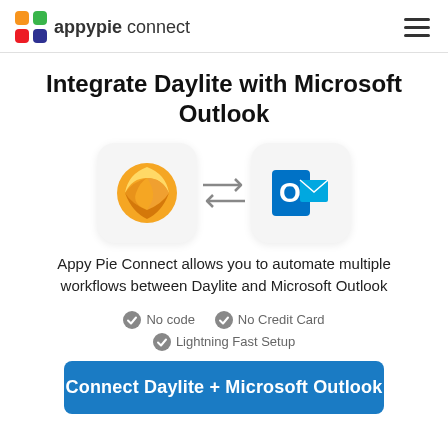appypie connect
Integrate Daylite with Microsoft Outlook
[Figure (logo): Daylite app icon (yellow sphere) and Microsoft Outlook icon (blue O with envelope) with bidirectional arrows between them]
Appy Pie Connect allows you to automate multiple workflows between Daylite and Microsoft Outlook
No code   No Credit Card   Lightning Fast Setup
Connect Daylite + Microsoft Outlook